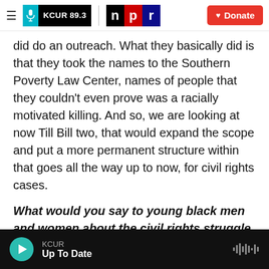KCUR 89.3 | npr | Donate
did do an outreach. What they basically did is that they took the names to the Southern Poverty Law Center, names of people that they couldn't even prove was a racially motivated killing. And so, we are looking at now Till Bill two, that would expand the scope and put a more permanent structure within that goes all the way up to now, for civil rights cases.
What would you say to young black men and women about the civil rights struggle today?
First, I wouldn't limit it to black boys and girls. I
KCUR — Up To Date